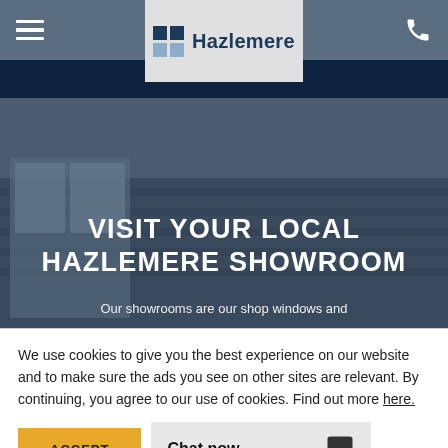Hazlemere
[Figure (screenshot): Hero image showing a house with roof tiles and windows, dark overlay, text 'VISIT YOUR LOCAL HAZLEMERE SHOWROOM' and partial subtitle 'Our showrooms are our shop windows and']
VISIT YOUR LOCAL HAZLEMERE SHOWROOM
Our showrooms are our shop windows and
We use cookies to give you the best experience on our website and to make sure the ads you see on other sites are relevant. By continuing, you agree to our use of cookies. Find out more here.
ACCEPT
Chat now